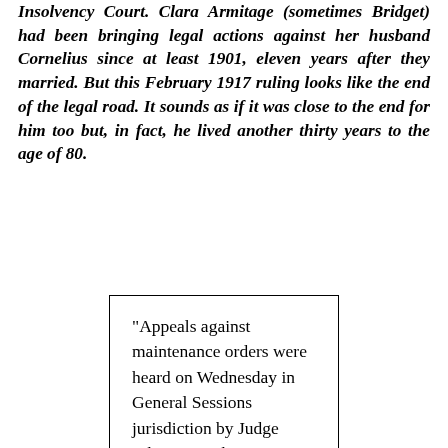Insolvency Court. Clara Armitage (sometimes Bridget) had been bringing legal actions against her husband Cornelius since at least 1901, eleven years after they married. But this February 1917 ruling looks like the end of the legal road. It sounds as if it was close to the end for him too but, in fact, he lived another thirty years to the age of 80.
"Appeals against maintenance orders were heard on Wednesday in General Sessions jurisdiction by Judge Johnston in the Insolvency Court. In the case of Cornelius